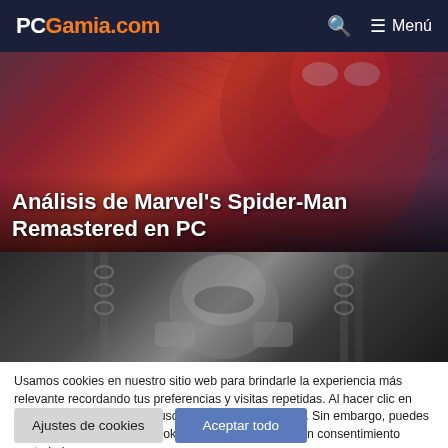PCGamia.com — Menú
[Figure (screenshot): Hero image showing Marvel's Spider-Man Remastered character in red suit with blue details]
Análisis de Marvel's Spider-Man Remastered en PC
[Figure (screenshot): Second game screenshot showing a mechanical robot or armor character with chains]
Usamos cookies en nuestro sitio web para brindarle la experiencia más relevante recordando tus preferencias y visitas repetidas. Al hacer clic en "Aceptar todo", aceptas el uso de TODAS las cookies. Sin embargo, puedes visitar "Configuración de cookies" para proporcionar un consentimiento controlado.
Ajustes de cookies | Aceptar todo